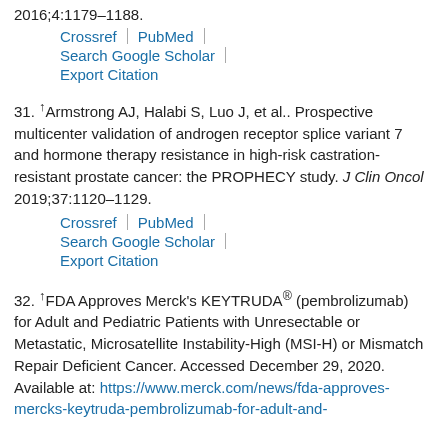2016;4:1179–1188.
Crossref | PubMed | Search Google Scholar | Export Citation
31. ↑Armstrong AJ, Halabi S, Luo J, et al.. Prospective multicenter validation of androgen receptor splice variant 7 and hormone therapy resistance in high-risk castration-resistant prostate cancer: the PROPHECY study. J Clin Oncol 2019;37:1120–1129.
Crossref | PubMed | Search Google Scholar | Export Citation
32. ↑FDA Approves Merck's KEYTRUDA® (pembrolizumab) for Adult and Pediatric Patients with Unresectable or Metastatic, Microsatellite Instability-High (MSI-H) or Mismatch Repair Deficient Cancer. Accessed December 29, 2020. Available at: https://www.merck.com/news/fda-approves-mercks-keytruda-pembrolizumab-for-adult-and-